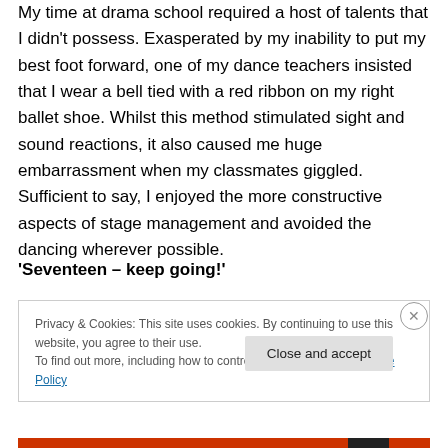My time at drama school required a host of talents that I didn't possess. Exasperated by my inability to put my best foot forward, one of my dance teachers insisted that I wear a bell tied with a red ribbon on my right ballet shoe. Whilst this method stimulated sight and sound reactions, it also caused me huge embarrassment when my classmates giggled. Sufficient to say, I enjoyed the more constructive aspects of stage management and avoided the dancing wherever possible.
'Seventeen – keep going!'
Privacy & Cookies: This site uses cookies. By continuing to use this website, you agree to their use.
To find out more, including how to control cookies, see here: Cookie Policy